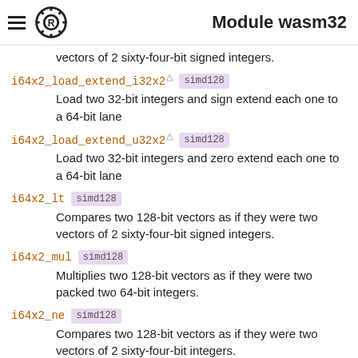Module wasm32
vectors of 2 sixty-four-bit signed integers.
i64x2_load_extend_i32x2 simd128
Load two 32-bit integers and sign extend each one to a 64-bit lane
i64x2_load_extend_u32x2 simd128
Load two 32-bit integers and zero extend each one to a 64-bit lane
i64x2_lt simd128
Compares two 128-bit vectors as if they were two vectors of 2 sixty-four-bit signed integers.
i64x2_mul simd128
Multiplies two 128-bit vectors as if they were two packed two 64-bit integers.
i64x2_ne simd128
Compares two 128-bit vectors as if they were two vectors of 2 sixty-four-bit integers.
i64x2_neg simd128